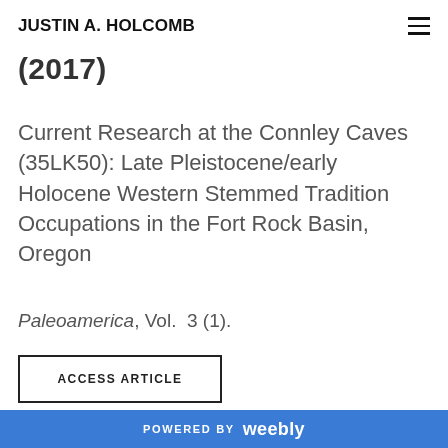JUSTIN A. HOLCOMB
(2017)
Current Research at the Connley Caves (35LK50): Late Pleistocene/early Holocene Western Stemmed Tradition Occupations in the Fort Rock Basin, Oregon
Paleoamerica, Vol. 3 (1).
ACCESS ARTICLE
Abstract: Connley Caves in the Fort Rock Basin of Oregon contain stratified deposits dating to the late-
POWERED BY weebly